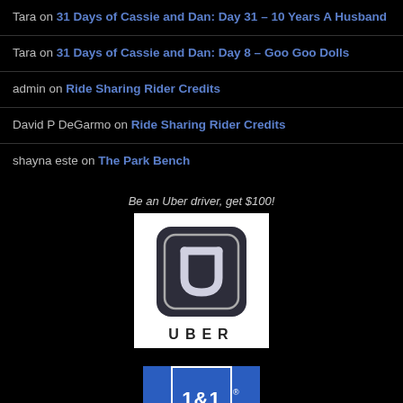Tara on 31 Days of Cassie and Dan: Day 31 – 10 Years A Husband
Tara on 31 Days of Cassie and Dan: Day 8 – Goo Goo Dolls
admin on Ride Sharing Rider Credits
David P DeGarmo on Ride Sharing Rider Credits
shayna este on The Park Bench
Be an Uber driver, get $100!
[Figure (logo): Uber logo: dark rounded square with U-shaped symbol above, UBER text below, on white background]
[Figure (logo): 1&1 logo: white 1&1 text with registered trademark symbol inside a bordered box on blue background]